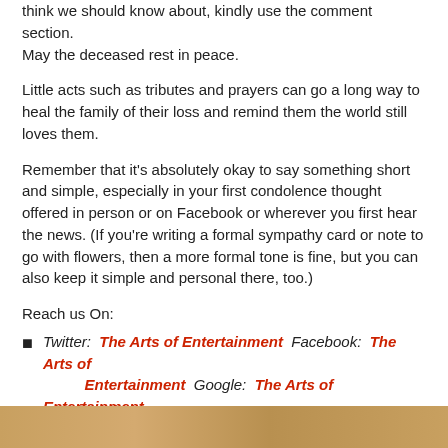think we should know about, kindly use the comment section. May the deceased rest in peace.
Little acts such as tributes and prayers can go a long way to heal the family of their loss and remind them the world still loves them.
Remember that it’s absolutely okay to say something short and simple, especially in your first condolence thought offered in person or on Facebook or wherever you first hear the news. (If you’re writing a formal sympathy card or note to go with flowers, then a more formal tone is fine, but you can also keep it simple and personal there, too.
Reach us On:
Twitter: The Arts of Entertainment Facebook: The Arts of Entertainment Google: The Arts of Entertainment
INTERESTING FOR YOU
[Figure (photo): Partial image strip at bottom of page, warm orange/golden tones]